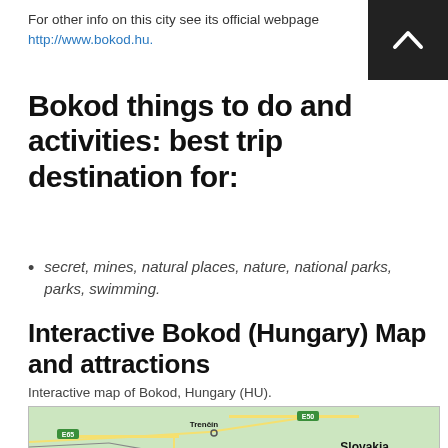For other info on this city see its official webpage http://www.bokod.hu.
Bokod things to do and activities: best trip destination for:
secret, mines, natural places, nature, national parks, parks, swimming.
Interactive Bokod (Hungary) Map and attractions
Interactive map of Bokod, Hungary (HU).
[Figure (map): Interactive map showing region around Bokod, Hungary with Slovakia visible, Trenčín city marked, and road labels E50, E65, E75.]